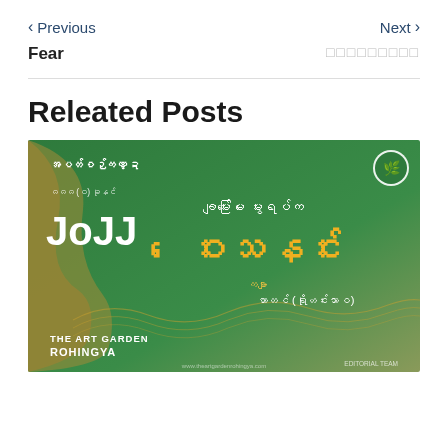< Previous    Next >
Fear
Releated Posts
[Figure (illustration): Book cover with green and gold design. Text in Myanmar script reads: အပတ်စဉ်ကဏ္ဍ, ၃၀ JoJJ, ချမ်းမြေ မွေးရပ်က ဝေးသနင်း, ကဗျာ, ဟာတင် (ရိုဟင်းသာဝ). THE ART GARDEN ROHINGYA logo and editorial team shown at bottom.]